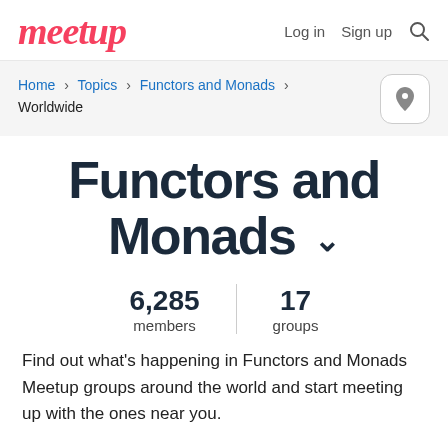Meetup — Log in  Sign up
Home > Topics > Functors and Monads > Worldwide
Functors and Monads
6,285 members  |  17 groups
Find out what's happening in Functors and Monads Meetup groups around the world and start meeting up with the ones near you.